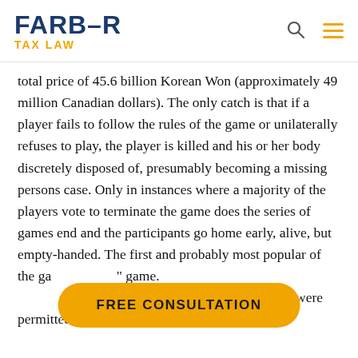FARBER TAX LAW
total price of 45.6 billion Korean Won (approximately 49 million Canadian dollars). The only catch is that if a player fails to follow the rules of the game or unilaterally refuses to play, the player is killed and his or her body discretely disposed of, presumably becoming a missing persons case. Only in instances where a majority of the players vote to terminate the game does the series of games end and the participants go home early, alive, but empty-handed. The first and probably most popular of the ga[mes is the] game. [… the] finish line and were permitted to move only
FREE CONSULTATION